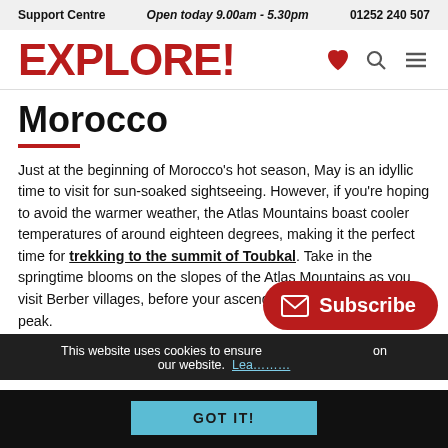Support Centre   Open today 9.00am - 5.30pm   01252 240 507
EXPLORE!
Morocco
Just at the beginning of Morocco’s hot season, May is an idyllic time to visit for sun-soaked sightseeing. However, if you’re hoping to avoid the warmer weather, the Atlas Mountains boast cooler temperatures of around eighteen degrees, making it the perfect time for trekking to the summit of Toubkal. Take in the springtime blooms on the slopes of the Atlas Mountains as you visit Berber villages, before your ascend North Africa’s highest peak.
This website uses cookies to ensure you get the best experience on our website. Learn more
GOT IT!